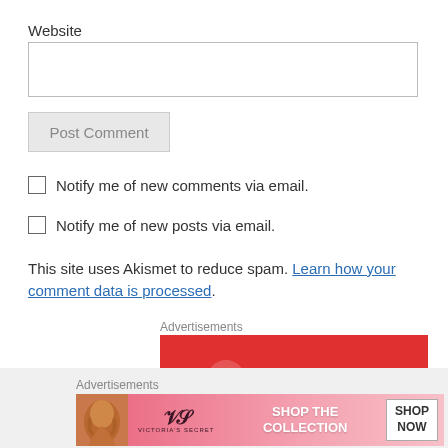Website
Post Comment
Notify me of new comments via email.
Notify me of new posts via email.
This site uses Akismet to reduce spam. Learn how your comment data is processed.
Advertisements
[Figure (screenshot): Pocket Casts advertisement banner with red background and white logo]
Advertisements
[Figure (screenshot): Victoria's Secret advertisement banner with pink background showing model and SHOP THE COLLECTION SHOP NOW text]